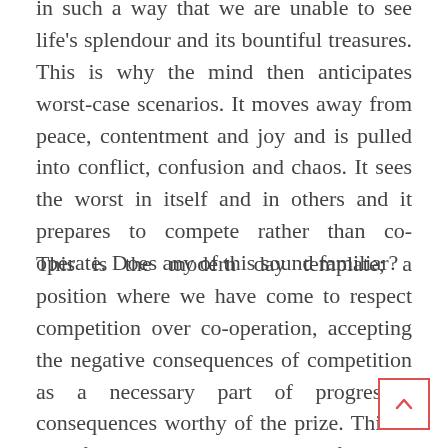in such a way that we are unable to see life's splendour and its bountiful treasures. This is why the mind then anticipates worst-case scenarios. It moves away from peace, contentment and joy and is pulled into conflict, confusion and chaos. It sees the worst in itself and in others and it prepares to compete rather than co-operate. Does any of this sound familiar?
This is the modern day template; a position where we have come to respect competition over co-operation, accepting the negative consequences of competition as a necessary part of progress.... consequences worthy of the prize. This is why for many the anticipating self is not a safe haven, nor a